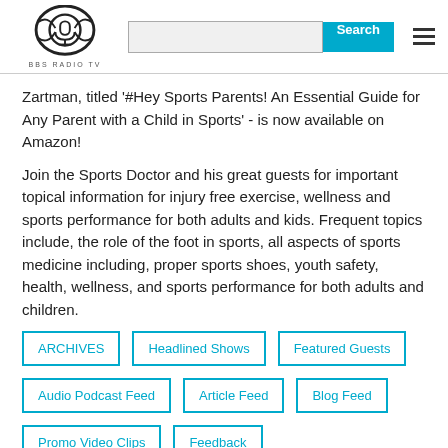BBS RADIO TV | Search
Zartman, titled '#Hey Sports Parents! An Essential Guide for Any Parent with a Child in Sports' - is now available on Amazon!
Join the Sports Doctor and his great guests for important topical information for injury free exercise, wellness and sports performance for both adults and kids. Frequent topics include, the role of the foot in sports, all aspects of sports medicine including, proper sports shoes, youth safety, health, wellness, and sports performance for both adults and children.
ARCHIVES
Headlined Shows
Featured Guests
Audio Podcast Feed
Article Feed
Blog Feed
Promo Video Clips
Feedback
Weekly Show